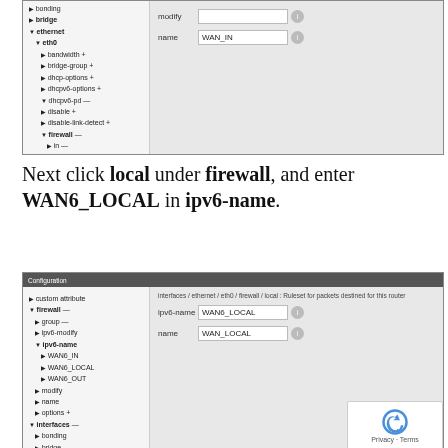[Figure (screenshot): Router configuration UI screenshot showing eth0 firewall tree with fields for modify and name (WAN_IN)]
Next click local under firewall, and enter WAN6_LOCAL in ipv6-name.
[Figure (screenshot): Router configuration UI screenshot showing firewall/local ruleset configuration with ipv6-name set to WAN6_LOCAL and name set to WAN_LOCAL]